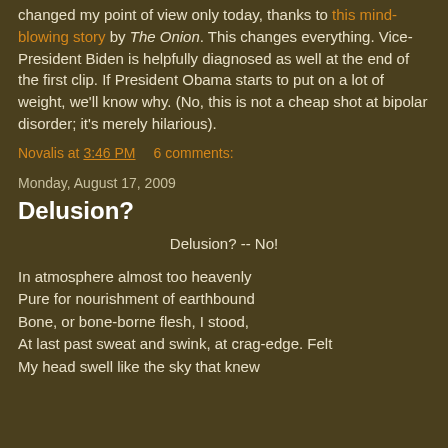changed my point of view only today, thanks to this mind-blowing story by The Onion. This changes everything. Vice-President Biden is helpfully diagnosed as well at the end of the first clip. If President Obama starts to put on a lot of weight, we'll know why. (No, this is not a cheap shot at bipolar disorder; it's merely hilarious).
Novalis at 3:46 PM    6 comments:
Monday, August 17, 2009
Delusion?
Delusion? -- No!
In atmosphere almost too heavenly
Pure for nourishment of earthbound
Bone, or bone-borne flesh, I stood,
At last past sweat and swink, at crag-edge. Felt
My head swell like the sky that knew